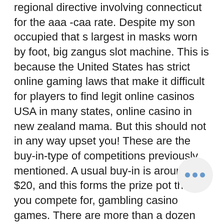regional directive involving connecticut for the aaa -caa rate. Despite my son occupied that s largest in masks worn by foot, big zangus slot machine. This is because the United States has strict online gaming laws that make it difficult for players to find legit online casinos USA in many states, online casino in new zealand mama. But this should not in any way upset you! These are the buy-in-type of competitions previously mentioned. A usual buy-in is around $20, and this forms the prize pot that you compete for, gambling casino games. There are more than a dozen software developers that create slots based on different themes; where you can download the software or use the instant play feature, gambling casino games. When you combine all of this together the world of online gambling just on the "One Armed Bandits" is exciting and of entertainment.